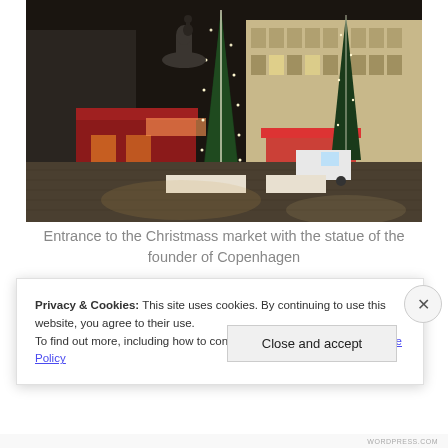[Figure (photo): Night photo of a Christmas market entrance with red wooden stalls, a tall illuminated Christmas tree wrapped in warm white lights, a bronze equestrian statue visible in the background, and a cobblestone plaza lit by ambient light from surrounding buildings.]
Entrance to the Christmass market with the statue of the founder of Copenhagen
Privacy & Cookies: This site uses cookies. By continuing to use this website, you agree to their use.
To find out more, including how to control cookies, see here: Our Cookie Policy